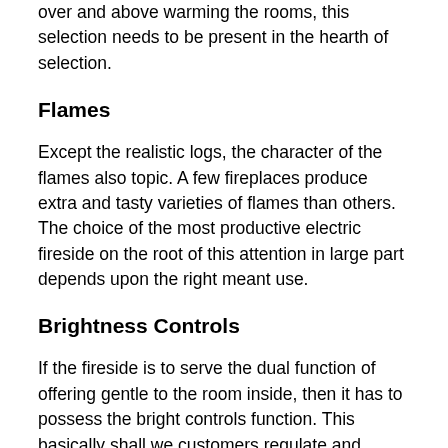over and above warming the rooms, this selection needs to be present in the hearth of selection.
Flames
Except the realistic logs, the character of the flames also topic. A few fireplaces produce extra and tasty varieties of flames than others. The choice of the most productive electric fireside on the root of this attention in large part depends upon the right meant use.
Brightness Controls
If the fireside is to serve the dual function of offering gentle to the room inside, then it has to possess the bright controls function. This basically shall we customers regulate and determines the brightness